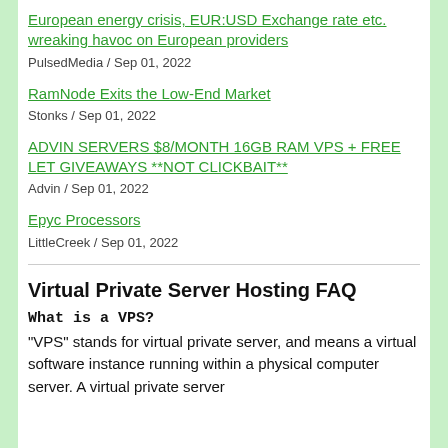European energy crisis, EUR:USD Exchange rate etc. wreaking havoc on European providers
PulsedMedia / Sep 01, 2022
RamNode Exits the Low-End Market
Stonks / Sep 01, 2022
ADVIN SERVERS $8/MONTH 16GB RAM VPS + FREE LET GIVEAWAYS **NOT CLICKBAIT**
Advin / Sep 01, 2022
Epyc Processors
LittleCreek / Sep 01, 2022
Virtual Private Server Hosting FAQ
What is a VPS?
"VPS" stands for virtual private server, and means a virtual software instance running within a physical computer server. A virtual private server